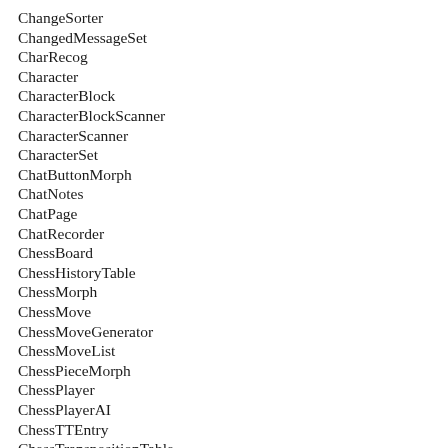ChangeSorter
ChangedMessageSet
CharRecog
Character
CharacterBlock
CharacterBlockScanner
CharacterScanner
CharacterSet
ChatButtonMorph
ChatNotes
ChatPage
ChatRecorder
ChessBoard
ChessHistoryTable
ChessMorph
ChessMove
ChessMoveGenerator
ChessMoveList
ChessPieceMorph
ChessPlayer
ChessPlayerAI
ChessTTEntry
ChessTranspositionTable
ChineseCheckerPiece
ChineseCheckers